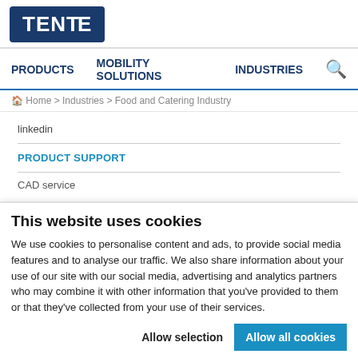[Figure (logo): TENTE logo: white bold text on dark navy blue rounded rectangle background]
PRODUCTS   MOBILITY SOLUTIONS   INDUSTRIES
Home > Industries > Food and Catering Industry
linkedin
PRODUCT SUPPORT
CAD service
This website uses cookies
We use cookies to personalise content and ads, to provide social media features and to analyse our traffic. We also share information about your use of our site with our social media, advertising and analytics partners who may combine it with other information that you've provided to them or that they've collected from your use of their services.
Allow selection   Allow all cookies
Necessary   Preferences   Statistics   Marketing   Show details